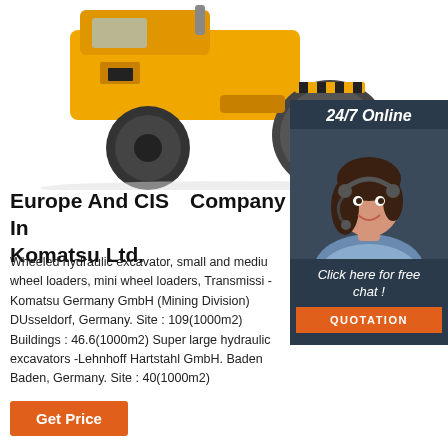[Figure (photo): Yellow road roller / compactor machine on white background, viewed from side-front angle showing large drum roller wheels]
[Figure (photo): 24/7 Online customer service agent - smiling woman with headset on dark blue sidebar panel]
Europe And CIS「Company In Komatsu Ltd.
Wheeled hydraulic excavator, small and medium wheel loaders, mini wheel loaders, Transmission -Komatsu Germany GmbH (Mining Division) DUsseldorf, Germany. Site : 109(1000m2) Buildings : 46.6(1000m2) Super large hydraulic excavators -Lehnhoff Hartstahl GmbH. Baden Baden, Germany. Site : 40(1000m2)
Get Price